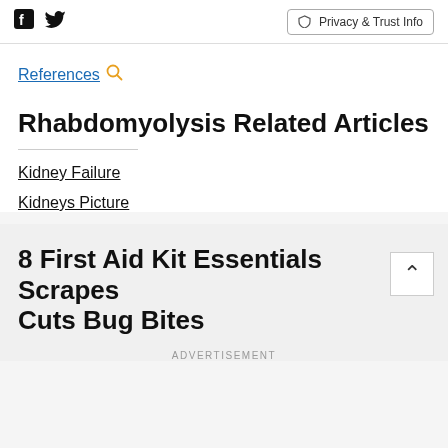Facebook Twitter Privacy & Trust Info
References 🔍
Rhabdomyolysis Related Articles
Kidney Failure
Kidneys Picture
8 First Aid Kit Essentials Scrapes Cuts Bug Bites
ADVERTISEMENT